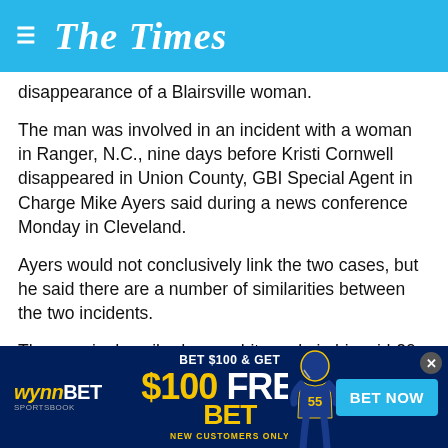The Times
disappearance of a Blairsville woman.
The man was involved in an incident with a woman in Ranger, N.C., nine days before Kristi Cornwell disappeared in Union County, GBI Special Agent in Charge Mike Ayers said during a news conference Monday in Cleveland.
Ayers would not conclusively link the two cases, but he said there are a number of similarities between the two incidents.
The man is described as a white male in his mid-20s with dark hair. He is believed to be driving a silver, late-model Nissan Xterra.
[Figure (infographic): WynnBet Sportsbook advertisement: BET $100 & GET $100 FREE BET NEW CUSTOMERS ONLY with BET NOW button and football player image]